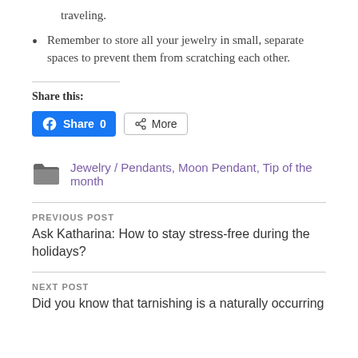traveling.
Remember to store all your jewelry in small, separate spaces to prevent them from scratching each other.
Share this:
[Figure (other): Facebook Share button with count 0 and a More share button]
Jewelry / Pendants, Moon Pendant, Tip of the month
PREVIOUS POST
Ask Katharina: How to stay stress-free during the holidays?
NEXT POST
Did you know that tarnishing is a naturally occurring